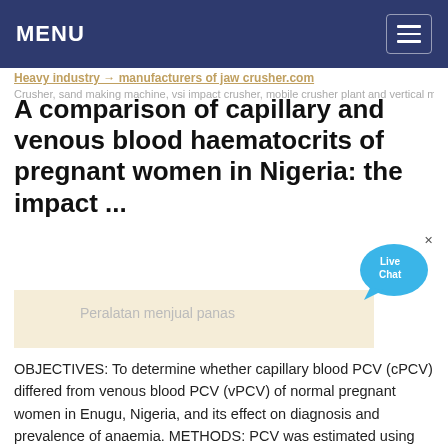MENU
Heavy industry → manufacturers of jaw crusher.com
Crusher, sand making machine, vsi impact crusher, mobile crusher plant and vertical mill, ultra-fine grinding, tricyclic medium speed micro grinding road, powder, pulverized...
A comparison of capillary and venous blood haematocrits of pregnant women in Nigeria: the impact ...
Peralatan menjual panas
OBJECTIVES: To determine whether capillary blood PCV (cPCV) differed from venous blood PCV (vPCV) of normal pregnant women in Enugu, Nigeria, and its effect on diagnosis and prevalence of anaemia. METHODS: PCV was estimated using pairs of venous and capillary blood samples from 200 consecutive pregnant women at the Antenatal Clinic of University of Nigeria Teaching Hospital, Enugu...